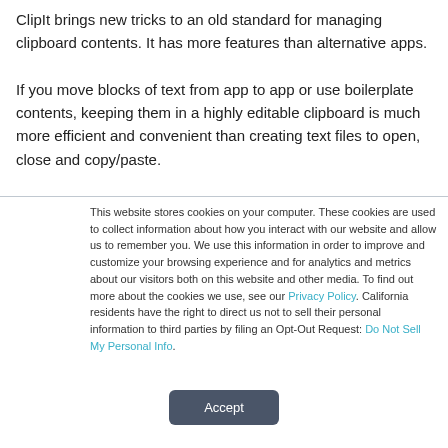ClipIt brings new tricks to an old standard for managing clipboard contents. It has more features than alternative apps.

If you move blocks of text from app to app or use boilerplate contents, keeping them in a highly editable clipboard is much more efficient and convenient than creating text files to open, close and copy/paste.
This website stores cookies on your computer. These cookies are used to collect information about how you interact with our website and allow us to remember you. We use this information in order to improve and customize your browsing experience and for analytics and metrics about our visitors both on this website and other media. To find out more about the cookies we use, see our Privacy Policy. California residents have the right to direct us not to sell their personal information to third parties by filing an Opt-Out Request: Do Not Sell My Personal Info.
Accept